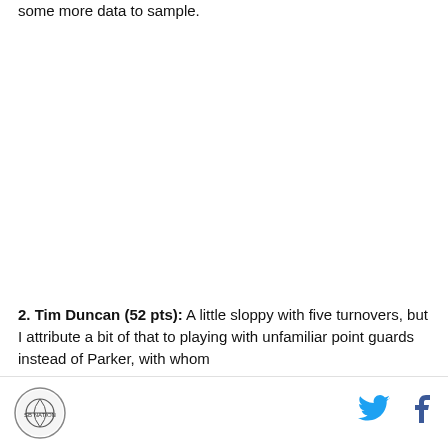some more data to sample.
2. Tim Duncan (52 pts): A little sloppy with five turnovers, but I attribute a bit of that to playing with unfamiliar point guards instead of Parker, with whom
Logo | Twitter | Facebook